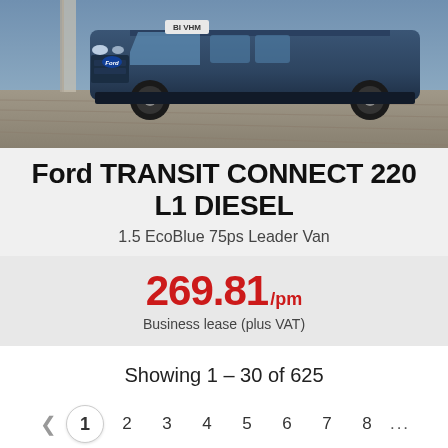[Figure (photo): Ford Transit Connect 220 L1 van in dark blue, photographed from front-left angle on cobblestone surface near a building pillar.]
Ford TRANSIT CONNECT 220 L1 DIESEL
1.5 EcoBlue 75ps Leader Van
269.81/pm Business lease (plus VAT)
Showing 1 – 30 of 625
< 1 2 3 4 5 6 7 8 … 20 21 >